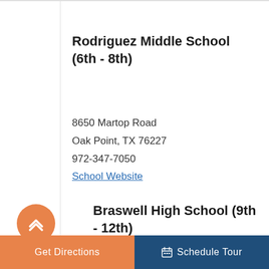Rodriguez Middle School (6th - 8th)
8650 Martop Road
Oak Point, TX 76227
972-347-7050
School Website
Braswell High School (9th - 12th)
26750 E University Dr.
Aubrey, TX 76227
Get Directions   Schedule Tour